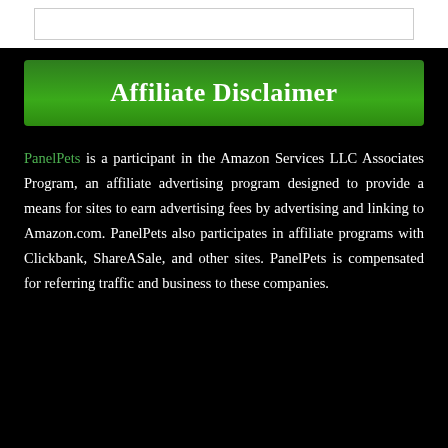Affiliate Disclaimer
PanelPets is a participant in the Amazon Services LLC Associates Program, an affiliate advertising program designed to provide a means for sites to earn advertising fees by advertising and linking to Amazon.com. PanelPets also participates in affiliate programs with Clickbank, ShareASale, and other sites. PanelPets is compensated for referring traffic and business to these companies.